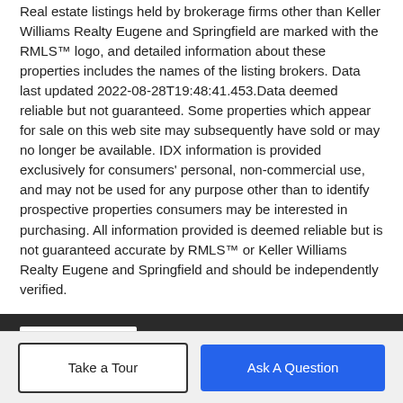Real estate listings held by brokerage firms other than Keller Williams Realty Eugene and Springfield are marked with the RMLS™ logo, and detailed information about these properties includes the names of the listing brokers. Data last updated 2022-08-28T19:48:41.453.Data deemed reliable but not guaranteed. Some properties which appear for sale on this web site may subsequently have sold or may no longer be available. IDX information is provided exclusively for consumers' personal, non-commercial use, and may not be used for any purpose other than to identify prospective properties consumers may be interested in purchasing. All information provided is deemed reliable but is not guaranteed accurate by RMLS™ or Keller Williams Realty Eugene and Springfield and should be independently verified.
BoomTown! © 2022 | Terms of Use | Privacy Policy | Accessibility | DMCA | Listings Sitemap
Take a Tour
Ask A Question